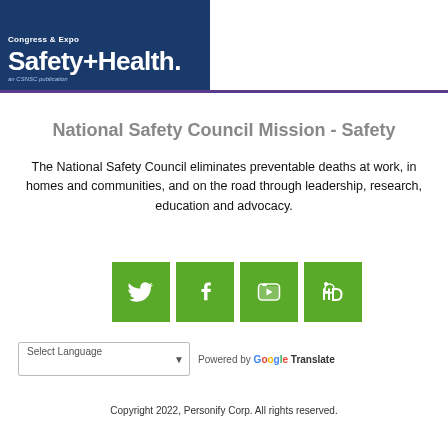[Figure (logo): Safety+Health magazine logo on dark blue background with 'Congress & Expo' text above]
National Safety Council Mission - Safety
The National Safety Council eliminates preventable deaths at work, in homes and communities, and on the road through leadership, research, education and advocacy.
[Figure (infographic): Four green social media icon buttons: Twitter, Facebook, YouTube, LinkedIn]
Select Language  Powered by Google Translate
Copyright 2022, Personify Corp. All rights reserved.